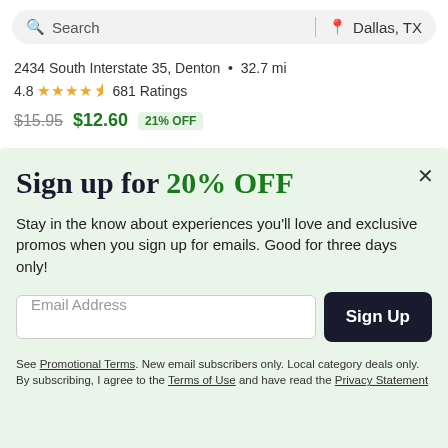[Figure (screenshot): Search bar with magnifying glass icon on left and location pin with 'Dallas, TX' on right, on a light gray rounded pill background]
2434 South Interstate 35, Denton  •  32.7 mi
4.8 ★★★★½ 681 Ratings
$15.95  $12.60  21% OFF
Sign up for 20% OFF
Stay in the know about experiences you'll love and exclusive promos when you sign up for emails. Good for three days only!
Email Address
Sign Up
See Promotional Terms. New email subscribers only. Local category deals only. By subscribing, I agree to the Terms of Use and have read the Privacy Statement